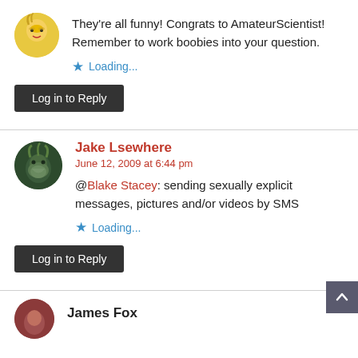They're all funny! Congrats to AmateurScientist! Remember to work boobies into your question.
Loading...
Log in to Reply
Jake Lsewhere
June 12, 2009 at 6:44 pm
@Blake Stacey: sending sexually explicit messages, pictures and/or videos by SMS
Loading...
Log in to Reply
James Fox